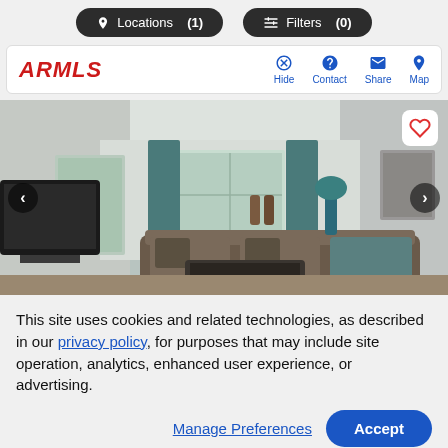Locations (1)   Filters (0)
[Figure (logo): ARMLS logo in red italic bold text with action buttons: Hide, Contact, Share, Map]
[Figure (photo): Interior living room photo showing a furnished room with teal curtains, a ceiling fan, a large sectional sofa, coffee table, and a TV on the left side. Navigation arrows on left and right, heart favorite button top right.]
This site uses cookies and related technologies, as described in our privacy policy, for purposes that may include site operation, analytics, enhanced user experience, or advertising.
Manage Preferences   Accept